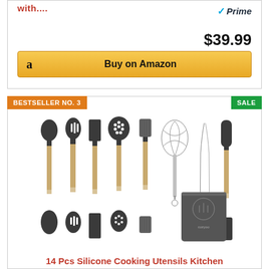with....
[Figure (logo): Amazon Prime logo with blue checkmark and Prime text]
$39.99
Buy on Amazon
BESTSELLER NO. 3
SALE
[Figure (photo): 14-piece silicone cooking utensil set with wooden handles including spoons, spatulas, slotted spoon, skimmer, brush, whisk, tongs, and a gray holder/caddy]
14 Pcs Silicone Cooking Utensils Kitchen